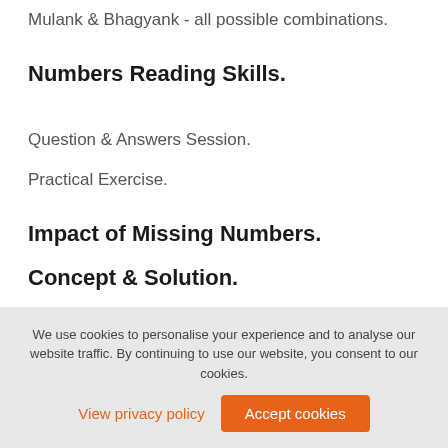Mulank & Bhagyank - all possible combinations.
Numbers Reading Skills.
Question & Answers Session.
Practical Exercise.
Impact of Missing Numbers.
Concept & Solution.
Grid Missing Number Calculation.
We use cookies to personalise your experience and to analyse our website traffic. By continuing to use our website, you consent to our cookies.
View privacy policy
Accept cookies